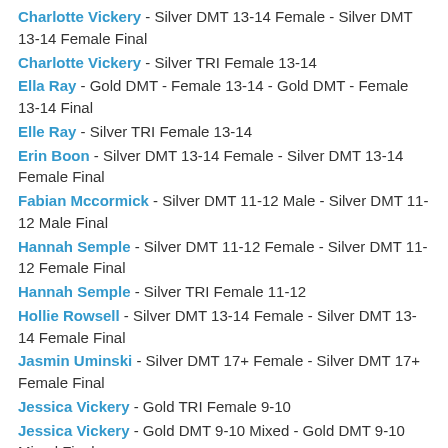Charlotte Vickery - Silver DMT 13-14 Female - Silver DMT 13-14 Female Final
Charlotte Vickery - Silver TRI Female 13-14
Ella Ray - Gold DMT - Female 13-14 - Gold DMT - Female 13-14 Final
Elle Ray - Silver TRI Female 13-14
Erin Boon - Silver DMT 13-14 Female - Silver DMT 13-14 Female Final
Fabian Mccormick - Silver DMT 11-12 Male - Silver DMT 11-12 Male Final
Hannah Semple - Silver DMT 11-12 Female - Silver DMT 11-12 Female Final
Hannah Semple - Silver TRI Female 11-12
Hollie Rowsell - Silver DMT 13-14 Female - Silver DMT 13-14 Female Final
Jasmin Uminski - Silver DMT 17+ Female - Silver DMT 17+ Female Final
Jessica Vickery - Gold TRI Female 9-10
Jessica Vickery - Gold DMT 9-10 Mixed - Gold DMT 9-10 Mixed Final
Kayra Mete - Silver DMT 9-10 Mixed - Silver DMT 9-10 Mixed